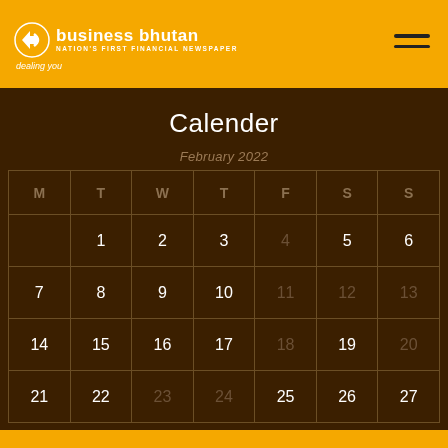business bhutan — NATION'S FIRST FINANCIAL NEWSPAPER — dealing you
Calender
February 2022
| M | T | W | T | F | S | S |
| --- | --- | --- | --- | --- | --- | --- |
|  | 1 | 2 | 3 | 4 | 5 | 6 |
| 7 | 8 | 9 | 10 | 11 | 12 | 13 |
| 14 | 15 | 16 | 17 | 18 | 19 | 20 |
| 21 | 22 | 23 | 24 | 25 | 26 | 27 |
| 28 |  |  |  |  |  |  |